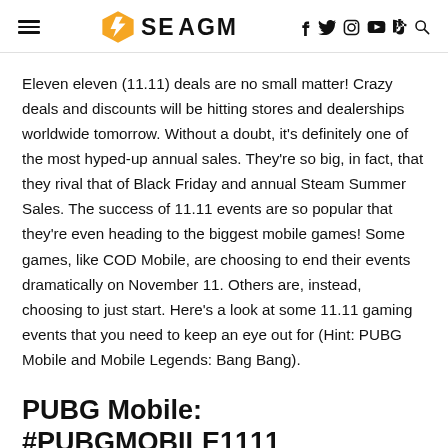SEAGM
Eleven eleven (11.11) deals are no small matter! Crazy deals and discounts will be hitting stores and dealerships worldwide tomorrow. Without a doubt, it's definitely one of the most hyped-up annual sales. They're so big, in fact, that they rival that of Black Friday and annual Steam Summer Sales. The success of 11.11 events are so popular that they're even heading to the biggest mobile games! Some games, like COD Mobile, are choosing to end their events dramatically on November 11. Others are, instead, choosing to just start. Here's a look at some 11.11 gaming events that you need to keep an eye out for (Hint: PUBG Mobile and Mobile Legends: Bang Bang).
PUBG Mobile: #PUBGMOBILE1111